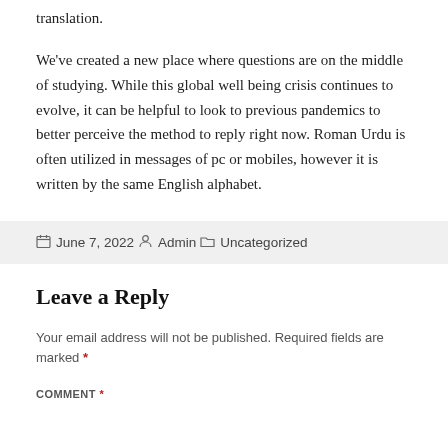translation.
We've created a new place where questions are on the middle of studying. While this global well being crisis continues to evolve, it can be helpful to look to previous pandemics to better perceive the method to reply right now. Roman Urdu is often utilized in messages of pc or mobiles, however it is written by the same English alphabet.
Posted June 7, 2022  By Admin  Categories Uncategorized
Leave a Reply
Your email address will not be published. Required fields are marked *
COMMENT *